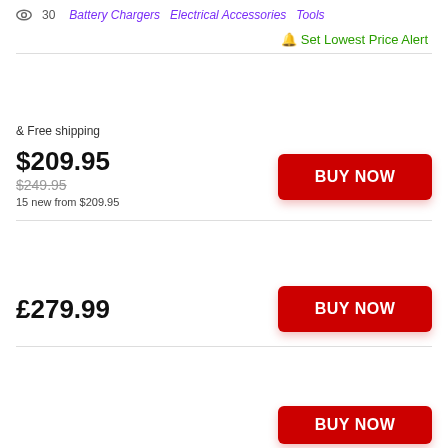30  Battery Chargers  Electrical Accessories  Tools
Set Lowest Price Alert
& Free shipping
$209.95
$249.95
15 new from $209.95
BUY NOW
£279.99
BUY NOW
BUY NOW (partial)